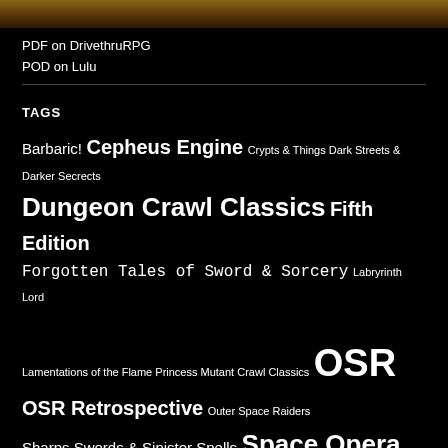[Figure (photo): Partial image strip at top of page showing a brownish textured surface]
PDF on DrivethruRPG
POD on Lulu
TAGS
Barbaric! Cepheus Engine Crypts & Things Dark Streets & Darker Secrects Dungeon Crawl Classics Fifth Edition Forgotten Tales of Sword & Sorcery Labryrinth Lord Lamentations of the Flame Princess Mutant Crawl Classics OSR OSR Retrospective Outer Space Raiders Sharps Swords & Sinister Spells Space Opera Sword & Sorcery Swords & Wizardry White Box World of Zoong YARC